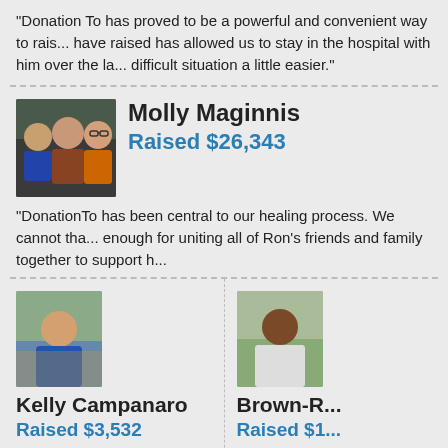"Donation To has proved to be a powerful and convenient way to rais... have raised has allowed us to stay in the hospital with him over the la... difficult situation a little easier."
[Figure (photo): Group photo of three people (family photo) used as profile picture for Molly Maginnis]
Molly Maginnis
Raised $26,343
"DonationTo has been central to our healing process. We cannot tha... enough for uniting all of Ron's friends and family together to support h...
[Figure (photo): Profile photo of a person outdoors used for Kelly Campanaro]
Kelly Campanaro
Raised $3,532
Campanaro family raise $3,532 to help
[Figure (photo): Profile photo of a person used for Brown-R...]
Brown-R...
Raised $1...
$18,351 wa...